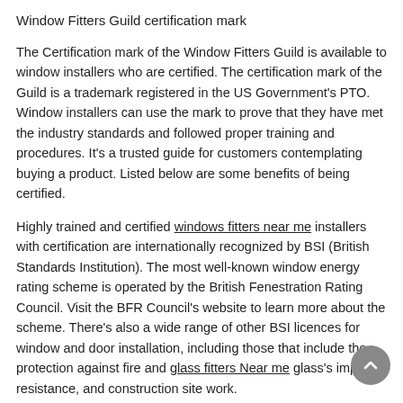Window Fitters Guild certification mark
The Certification mark of the Window Fitters Guild is available to window installers who are certified. The certification mark of the Guild is a trademark registered in the US Government's PTO. Window installers can use the mark to prove that they have met the industry standards and followed proper training and procedures. It's a trusted guide for customers contemplating buying a product. Listed below are some benefits of being certified.
Highly trained and certified windows fitters near me installers with certification are internationally recognized by BSI (British Standards Institution). The most well-known window energy rating scheme is operated by the British Fenestration Rating Council. Visit the BFR Council's website to learn more about the scheme. There's also a wide range of other BSI licences for window and door installation, including those that include the protection against fire and glass fitters Near me glass's impact resistance, and construction site work.
Cost of hiring a window fitter